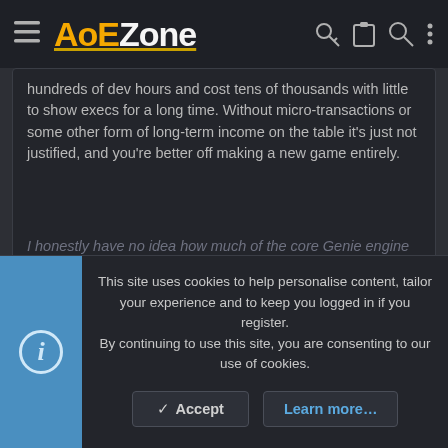AoEZone
hundreds of dev hours and cost tens of thousands with little to show execs for a long time. Without micro-transactions or some other form of long-term income on the table it's just not justified, and you're better off making a new game entirely.
I honestly have no idea how much of the core Genie engine is still
Click to expand...
They could have used aoe 3 engine, replace data and update from there, all the new assets were built in 3D so it wouldn't have been so difficult, i was expecting that to jump the restrictions that the old engine had, but they used the same, files were 8 bits with 16kbs as weight, now there are files of GB of weight and larger resolutions, increasing the demanding compute power, that one single core is not
This site uses cookies to help personalise content, tailor your experience and to keep you logged in if you register. By continuing to use this site, you are consenting to our use of cookies.
Accept
Learn more...